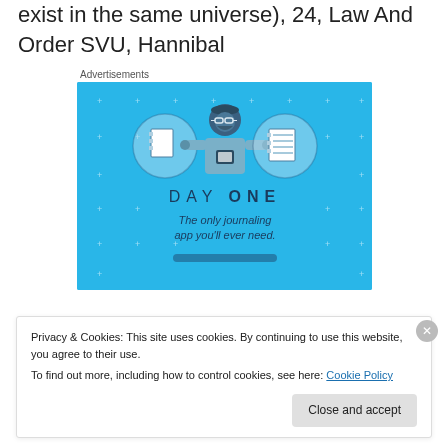exist in the same universe), 24, Law And Order SVU, Hannibal
Advertisements
[Figure (illustration): Day One journaling app advertisement. Blue background with small white star/plus dots pattern. Three circular icons: blank notebook, illustrated person using phone, lined notebook. Text: DAY ONE — The only journaling app you'll ever need.]
Privacy & Cookies: This site uses cookies. By continuing to use this website, you agree to their use.
To find out more, including how to control cookies, see here: Cookie Policy
Close and accept